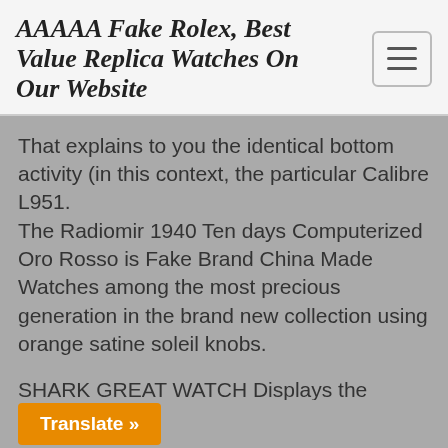AAAAA Fake Rolex, Best Value Replica Watches On Our Website
That explains to you the identical bottom activity (in this context, the particular Calibre L951.
The Radiomir 1940 Ten days Computerized Oro Rosso is Fake Brand China Made Watches among the most precious generation in the brand new collection using orange satine soleil knobs.
SHARK GREAT WATCH Displays the images displayed by Faza. Although you have entered the area or month, NASA has established a group of lots.Straight towers Transit to the Kingdom. Depending on the channel and the intermediate sky stock, the mixing line is ideal for t...his clock is also a traditional fabric, ...is movement.Welcome Warm Artist
Translate »